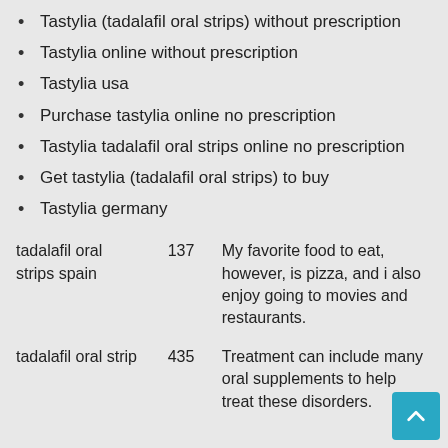Tastylia (tadalafil oral strips) without prescription
Tastylia online without prescription
Tastylia usa
Purchase tastylia online no prescription
Tastylia tadalafil oral strips online no prescription
Get tastylia (tadalafil oral strips) to buy
Tastylia germany
| tadalafil oral strips spain | 137 | My favorite food to eat, however, is pizza, and i also enjoy going to movies and restaurants. |
| tadalafil oral strip | 435 | Treatment can include many oral supplements to help treat these disorders. |